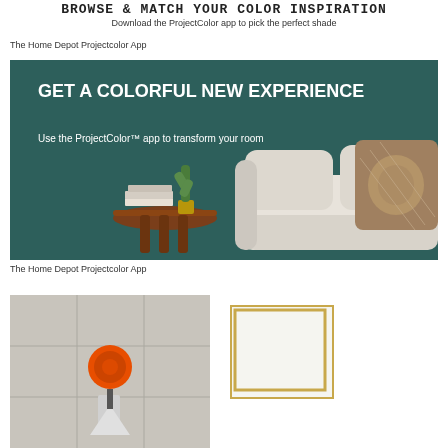Browse & match your color inspiration
Download the ProjectColor app to pick the perfect shade
The Home Depot Projectcolor App
[Figure (photo): Advertisement image with dark teal background showing text 'GET A COLORFUL NEW EXPERIENCE' and 'Use the ProjectColor™ app to transform your room', with a styled room scene including a cream sofa with patterned cushions, a round wooden side table, a cactus, and stacked books]
The Home Depot Projectcolor App
[Figure (photo): Image of a tile installation tool with an orange suction cup lifter on gray tile floor]
[Figure (photo): Small image with gold/yellow border on light background]